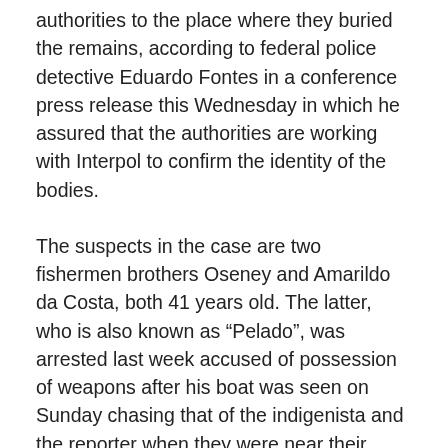authorities to the place where they buried the remains, according to federal police detective Eduardo Fontes in a conference press release this Wednesday in which he assured that the authorities are working with Interpol to confirm the identity of the bodies.
The suspects in the case are two fishermen brothers Oseney and Amarildo da Costa, both 41 years old. The latter, who is also known as “Pelado”, was arrested last week accused of possession of weapons after his boat was seen on Sunday chasing that of the indigenista and the reporter when they were near their destination, the city of Northern Watchtower. The second of the brothers was arrested on Tuesday night. This Wednesday, the police took one of the suspects, with his face covered and his head covered by a hood,